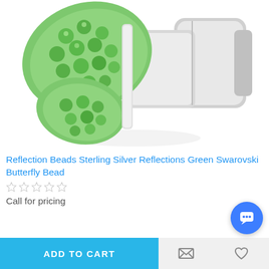[Figure (photo): Close-up photo of a sterling silver charm bead shaped like a butterfly, covered with green Swarovski crystals on the wings, with a silver cylindrical bead body in the background.]
Reflection Beads Sterling Silver Reflections Green Swarovski Butterfly Bead
☆☆☆☆☆
Call for pricing
ADD TO CART